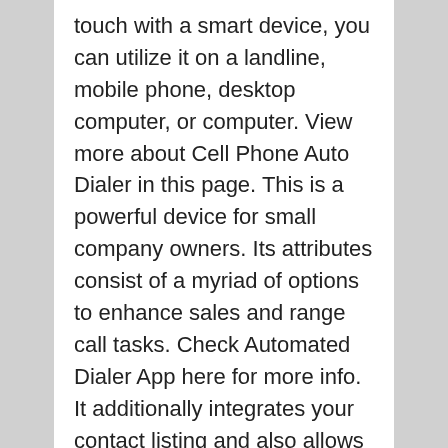touch with a smart device, you can utilize it on a landline, mobile phone, desktop computer, or computer. View more about Cell Phone Auto Dialer in this page. This is a powerful device for small company owners. Its attributes consist of a myriad of options to enhance sales and range call tasks. Check Automated Dialer App here for more info. It additionally integrates your contact listing and also allows you track and also follow up on calls. Discover more about Automatic Dialer App in this link. This application can likewise receive and also send sms messages and also act on leads. Check it out Auto Dial App in this site. And also all of these functions are readily available with the click of a button. Read Auto